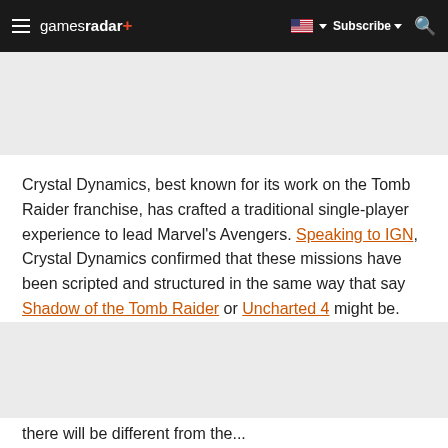gamesradar+ | Subscribe | Search
Crystal Dynamics, best known for its work on the Tomb Raider franchise, has crafted a traditional single-player experience to lead Marvel's Avengers. Speaking to IGN, Crystal Dynamics confirmed that these missions have been scripted and structured in the same way that say Shadow of the Tomb Raider or Uncharted 4 might be.